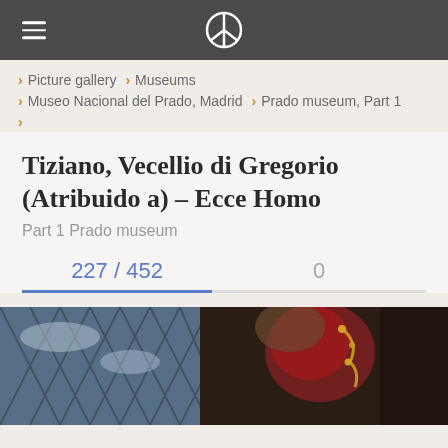Navigation bar with hamburger menu and peace symbol logo
Picture gallery > Museums
Museo Nacional del Prado, Madrid > Prado museum, Part 1
Tiziano, Vecellio di Gregorio (Atribuido a) – Ecce Homo
Part 1 Prado museum
227 / 452
0
[Figure (photo): Partial view of a painting showing a figure with a red garment against a dark background with a latticed window]